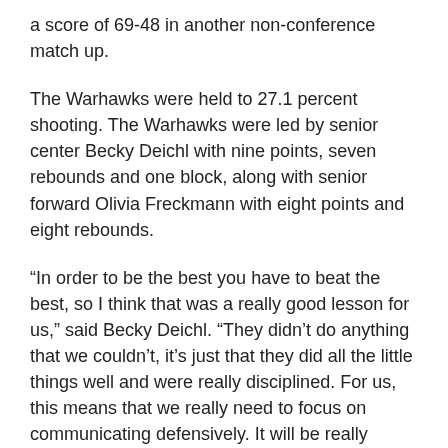a score of 69-48 in another non-conference match up.
The Warhawks were held to 27.1 percent shooting. The Warhawks were led by senior center Becky Deichl with nine points, seven rebounds and one block, along with senior forward Olivia Freckmann with eight points and eight rebounds.
“In order to be the best you have to beat the best, so I think that was a really good lesson for us,” said Becky Deichl. “They didn’t do anything that we couldn’t, it’s just that they did all the little things well and were really disciplined. For us, this means that we really need to focus on communicating defensively. It will be really important for us to do a better job cleaning up the glass moving forward.”
Deichl brought UW-Whitewater to within 13 points through the game-losing Thomas More and adding the